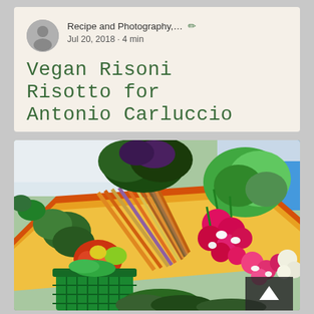Recipe and Photography,… ✏ Jul 20, 2018 · 4 min
Vegan Risoni Risotto for Antonio Carluccio
[Figure (photo): Colorful vegetables displayed at a farmers market: rainbow carrots, radishes, leafy greens including kale and bok choy, bell peppers, tomatoes, and a green shopping basket in the foreground. A person in a blue shirt stands in the background.]